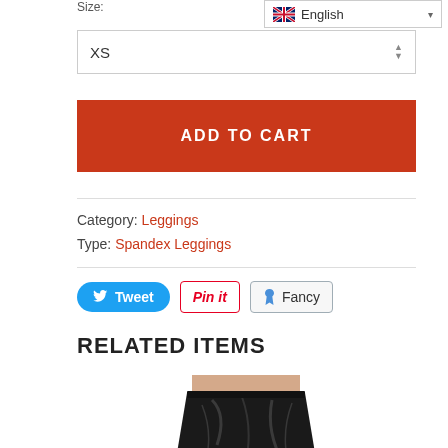Size:
XS
English
ADD TO CART
Category: Leggings
Type: Spandex Leggings
[Figure (other): Social sharing buttons: Tweet, Pin it, Fancy]
RELATED ITEMS
[Figure (photo): Photo of a black leather-look skirt, cropped, showing waist and skirt portion]